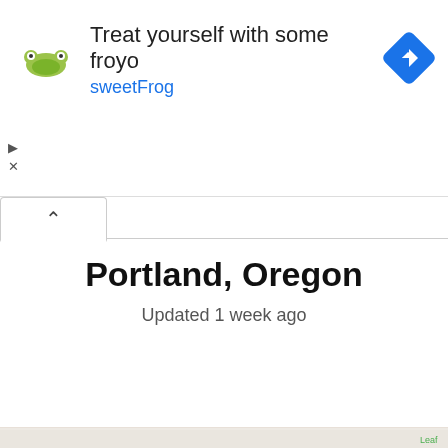[Figure (screenshot): Advertisement banner for sweetFrog frozen yogurt with logo, headline text 'Treat yourself with some froyo', subtext 'sweetFrog', and a blue navigation arrow icon. Play and close buttons on the left.]
Portland, Oregon
Updated 1 week ago
[Figure (map): Google Maps screenshot showing downtown Portland, Oregon with landmarks including Dossier Hotel, Royal Sonesta Portland Downtown, Railway E Building and Restaurant, Virginia Cafe, KGW on the, Joy Poke, Paramount Hotel, Hilton Portland Executive Tower, Arlene Schnitzer Concert Hall, AC Hotel. Streets shown include SW 9th Ave, SW Yamhill St, and SW S. Map includes hotel and restaurant icons.]